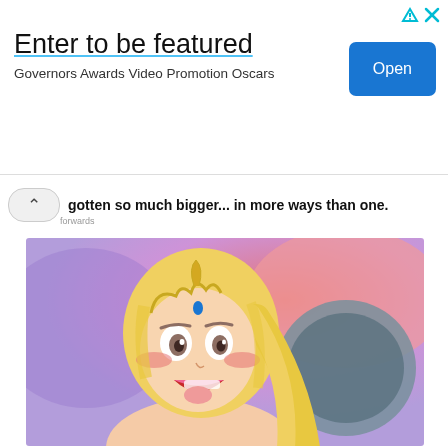[Figure (infographic): Advertisement banner: 'Enter to be featured' with subtitle 'Governors Awards Video Promotion Oscars' and a blue 'Open' button, plus close/skip icons top right]
gotten so much bigger... in more ways than one.
[Figure (illustration): Anime-style illustration of a blonde female character with an open mouth expression, blushing cheeks, on a pink/purple background]